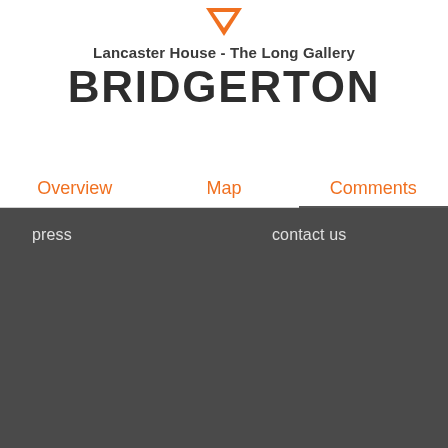[Figure (logo): Orange downward-pointing triangle/chevron logo icon]
Lancaster House - The Long Gallery
BRIDGERTON
Overview   Map   Comments
press   contact us
We use cookies to improve user experience. By using it you consent to our policy. Read more
NECESSARY   MARKETING
DETAILS
ACCEPT ALL   DECLINE ALL